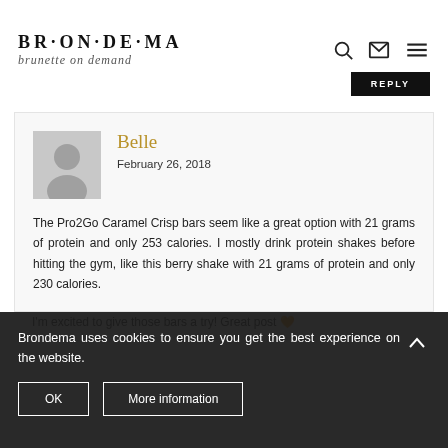BRONDEMA — brunette on demand
REPLY
Belle
February 26, 2018
The Pro2Go Caramel Crisp bars seem like a great option with 21 grams of protein and only 253 calories. I mostly drink protein shakes before hitting the gym, like this berry shake with 21 grams of protein and only 230 calories. I'm excited to give those bars a try! Great post 🧡
Brondema uses cookies to ensure you get the best experience on the website.